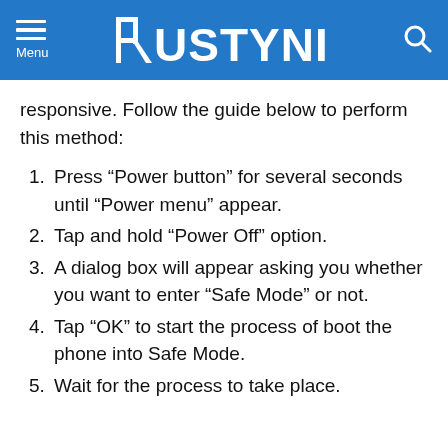RUSTYNI
responsive. Follow the guide below to perform this method:
Press “Power button” for several seconds until “Power menu” appear.
Tap and hold “Power Off” option.
A dialog box will appear asking you whether you want to enter “Safe Mode” or not.
Tap “OK” to start the process of boot the phone into Safe Mode.
Wait for the process to take place.